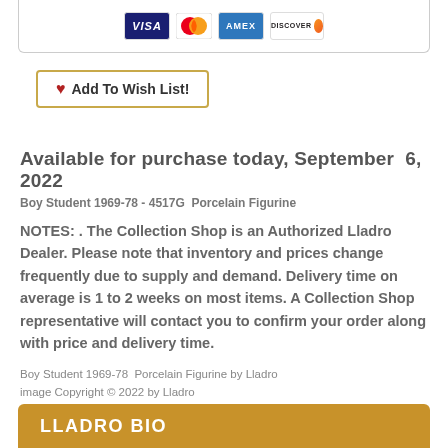[Figure (other): Credit card logos: VISA, Mastercard, AMEX, Discover shown in a bordered card section at the top]
♥ Add To Wish List!
Available for purchase today, September 6, 2022
Boy Student 1969-78 - 4517G Porcelain Figurine
NOTES: . The Collection Shop is an Authorized Lladro Dealer. Please note that inventory and prices change frequently due to supply and demand. Delivery time on average is 1 to 2 weeks on most items. A Collection Shop representative will contact you to confirm your order along with price and delivery time.
Boy Student 1969-78 Porcelain Figurine by Lladro
image Copyright © 2022 by Lladro
LLADRO BIO